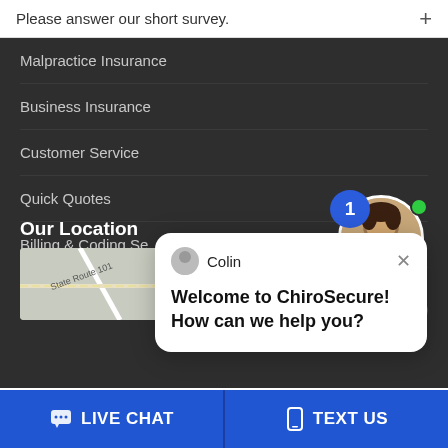Please answer our short survey.
Malpractice Insurance
Business Insurance
Customer Service
Quick Quotes
Billing & Coding Se…
Visit our Blog
[Figure (screenshot): Chat popup from agent Colin saying 'Welcome to ChiroSecure! How can we help you?' with a close X button]
Our Location
[Figure (map): Map showing State Route 101 and Legacy Blvd]
[Figure (photo): Online Agent photo with notification bubble showing 1 and green status dot, labeled 'Online Agent']
LIVE CHAT
TEXT US